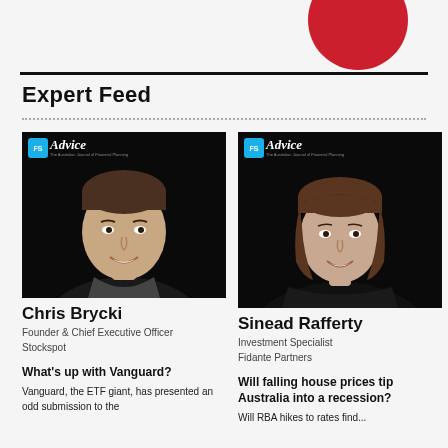[Figure (illustration): Partial red circle/logo visible at top right of page]
Expert Feed
[Figure (photo): Black and white headshot of Chris Brycki on FS Advice magazine cover background]
Chris Brycki
Founder & Chief Executive Officer
Stockspot
What's up with Vanguard?
Vanguard, the ETF giant, has presented an odd submission to the
[Figure (photo): Black and white headshot of Sinead Rafferty on FS Advice magazine cover background]
Sinead Rafferty
Investment Specialist
Fidante Partners
Will falling house prices tip Australia into a recession?
Will RBA hikes to rates find...